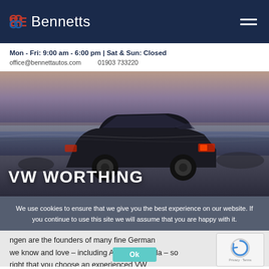Bennetts
Mon - Fri: 9:00 am - 6:00 pm | Sat & Sun: Closed
office@bennettautos.com   01903 733220
[Figure (photo): Dark hatchback car parked on a beach at dusk with ocean in background, VW Worthing hero image]
VW WORTHING
We use cookies to ensure that we give you the best experience on our website. If you continue to use this site we will assume that you are happy with it.
ngen are the founders of many fine German we know and love – including Audi and Skoda – so right that you choose an experienced VW